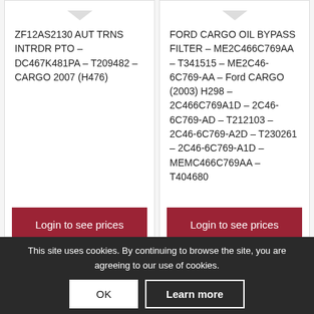ZF12AS2130 AUT TRNS INTRDR PTO – DC467K481PA – T209482 – CARGO 2007 (H476)
Login to see prices
FORD CARGO OIL BYPASS FILTER – ME2C466C769AA – T341515 – ME2C46-6C769-AA – Ford CARGO (2003) H298 – 2C466C769A1D – 2C46-6C769-AD – T212103 – 2C46-6C769-A2D – T230261 – 2C46-6C769-A1D – MEMC466C769AA – T404680
Login to see prices
This site uses cookies. By continuing to browse the site, you are agreeing to our use of cookies.